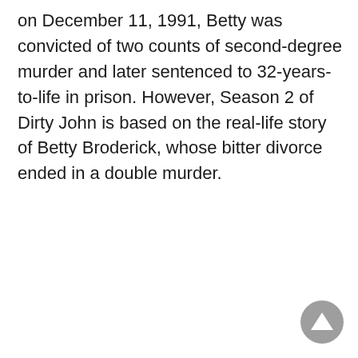on December 11, 1991, Betty was convicted of two counts of second-degree murder and later sentenced to 32-years-to-life in prison. However, Season 2 of Dirty John is based on the real-life story of Betty Broderick, whose bitter divorce ended in a double murder.
[Figure (other): A circular grey scroll-to-top button with an upward-pointing triangle arrow icon, positioned in the bottom-right corner of the page.]